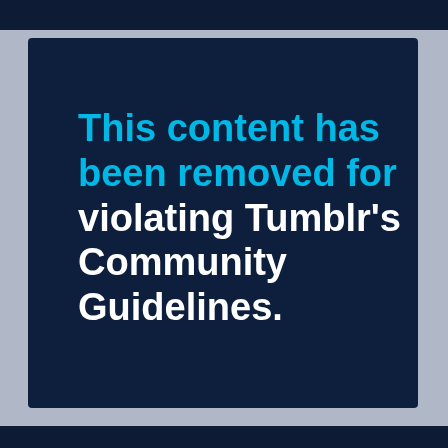This content has been removed for violating Tumblr's Community Guidelines.